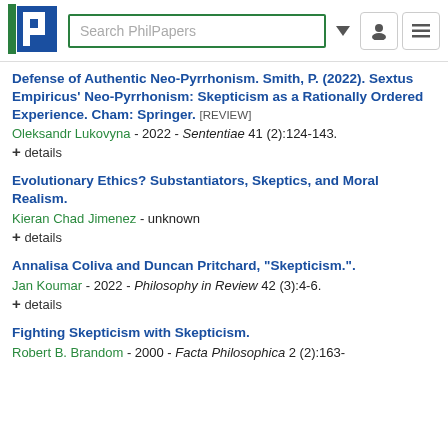Search PhilPapers
Defense of Authentic Neo-Pyrrhonism. Smith, P. (2022). Sextus Empiricus' Neo-Pyrrhonism: Skepticism as a Rationally Ordered Experience. Cham: Springer. [REVIEW]
Oleksandr Lukovyna - 2022 - Sententiae 41 (2):124-143.
+ details
Evolutionary Ethics? Substantiators, Skeptics, and Moral Realism.
Kieran Chad Jimenez - unknown
+ details
Annalisa Coliva and Duncan Pritchard, "Skepticism.".
Jan Koumar - 2022 - Philosophy in Review 42 (3):4-6.
+ details
Fighting Skepticism with Skepticism.
Robert B. Brandom - 2000 - Facta Philosophica 2 (2):163-